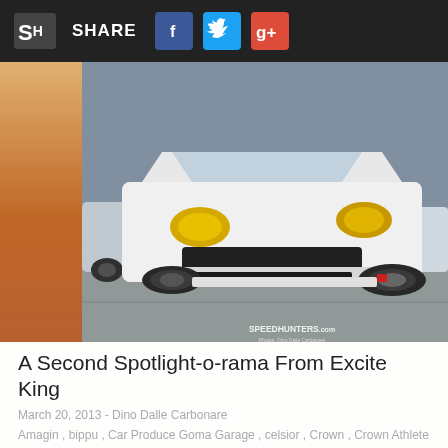SH SHARE
[Figure (photo): White modified Japanese car (low-slung stance, yellow headlights, wide bodykit) photographed at what appears to be Excite King 2013 at Fuji Speedway. Speedhunters.com watermark in lower right.]
A Second Spotlight-o-rama From Excite King
March 20, 2013 - Dino Dalle Carbonare
Amagin , bippu , Car Produce Goma Garage , celsior , Crown , Crown Athlete , daihatsu , Estima , Excite King 2013 , FSW , Fuji Speedway , GRS204 , japan , Kei-car , Kranze LXZ , Mira , N-Style , SSR Wheels , Toyota , Truth Racing , VIP , VIP Sedan , Work Wheels